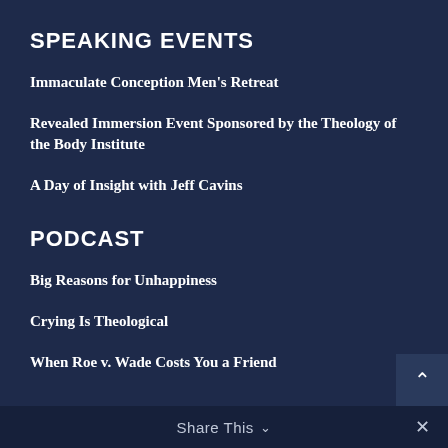SPEAKING EVENTS
Immaculate Conception Men's Retreat
Revealed Immersion Event Sponsored by the Theology of the Body Institute
A Day of Insight with Jeff Cavins
PODCAST
Big Reasons for Unhappiness
Crying Is Theological
When Roe v. Wade Costs You a Friend
Share This ∨  ×